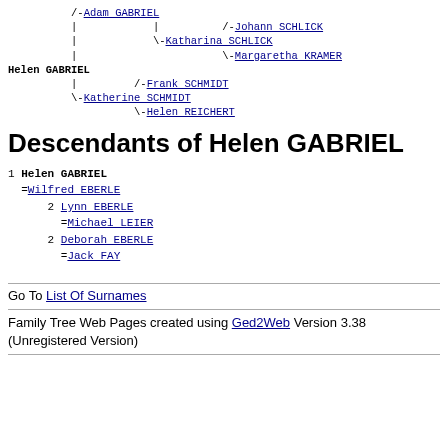[Figure (other): Ancestor tree for Helen GABRIEL showing /-Adam GABRIEL with ancestors /-Johann SCHLICK, \-Katharina SCHLICK, \-Margaretha KRAMER, and \-Katherine SCHMIDT with ancestors /-Frank SCHMIDT, \-Helen REICHERT]
Descendants of Helen GABRIEL
1 Helen GABRIEL
   =Wilfred EBERLE
      2 Lynn EBERLE
        =Michael LEIER
      2 Deborah EBERLE
        =Jack FAY
Go To List Of Surnames
Family Tree Web Pages created using Ged2Web Version 3.38 (Unregistered Version)